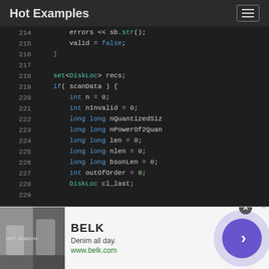Hot Examples
[Figure (screenshot): Code editor screenshot showing C++ source code lines 214–229, with syntax highlighting on a dark background. Lines show variable declarations and an if statement with scanData condition.]
[Figure (infographic): Advertisement banner for BELK: Denim all day. www.belk.com with a model photo, brand name, tagline, URL, and a purple circular CTA button with right arrow.]